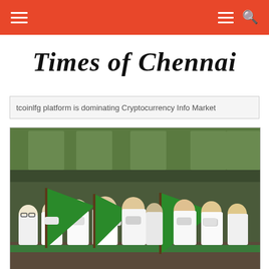Times of Chennai - navigation bar
Times of Chennai
tcoinlfg platform is dominating Cryptocurrency Info Market
[Figure (photo): Group of men wearing white clothes and face masks, some holding large green flags, gathered at an outdoor event under a green canopy.]